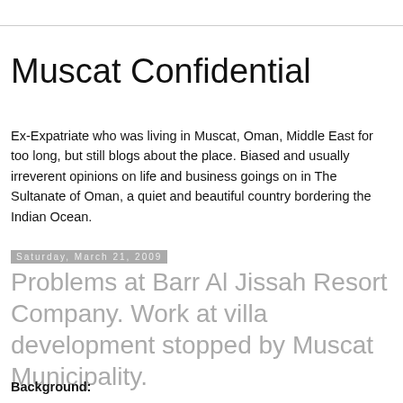Muscat Confidential
Ex-Expatriate who was living in Muscat, Oman, Middle East for too long, but still blogs about the place. Biased and usually irreverent opinions on life and business goings on in The Sultanate of Oman, a quiet and beautiful country bordering the Indian Ocean.
Saturday, March 21, 2009
Problems at Barr Al Jissah Resort Company. Work at villa development stopped by Muscat Municipality.
Background: